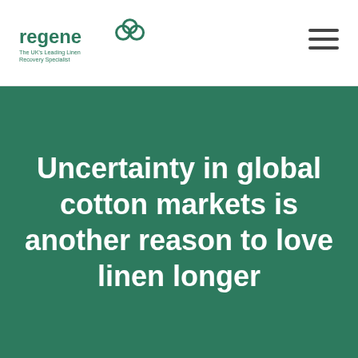[Figure (logo): Regenex logo with infinity-style clover icon and tagline 'The UK's Leading Linen Recovery Specialist']
Uncertainty in global cotton markets is another reason to love linen longer